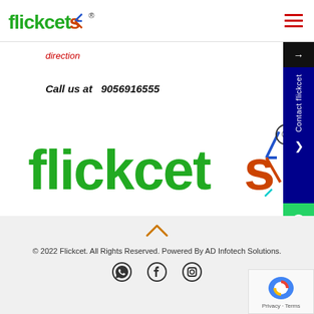[Figure (logo): Flickcets logo in header with green 'flickcet' and orange lightning bolt 's', registered trademark symbol, and hamburger menu icon in red on right]
direction
Call us at  9056916555
[Figure (logo): Large Flickcets logo with green 'flickcet' text and orange 's' with lightning bolt, registered trademark symbol]
[Figure (infographic): Right sidebar with dark navy background showing arrow button, 'Contact flickcet' text vertically, chevron icon, and green WhatsApp button]
© 2022 Flickcet. All Rights Reserved. Powered By AD Infotech Solutions.
[Figure (infographic): Social media icons: WhatsApp, Facebook, Instagram]